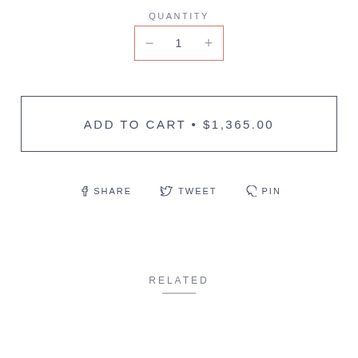QUANTITY
[Figure (other): Quantity stepper control with minus button, value 1, and plus button, bordered in terracotta/salmon color]
ADD TO CART • $1,365.00
f SHARE   ♥ TWEET   ♥ PIN
RELATED
[Figure (photo): Two partially visible product thumbnail images at the bottom of the page]